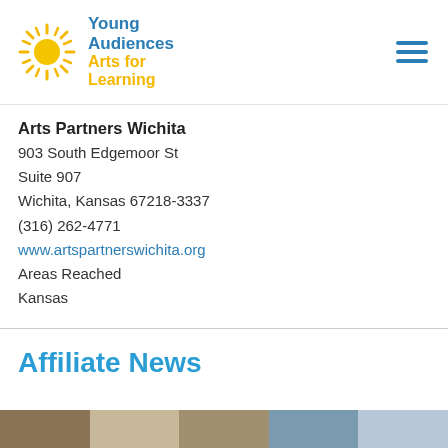[Figure (logo): Young Audiences Arts for Learning logo with sun icon and text]
Arts Partners Wichita
903 South Edgemoor St
Suite 907
Wichita, Kansas 67218-3337
(316) 262-4771
www.artspartnerswichita.org
Areas Reached
Kansas
Affiliate News
[Figure (photo): Partial photo strip at bottom of page]